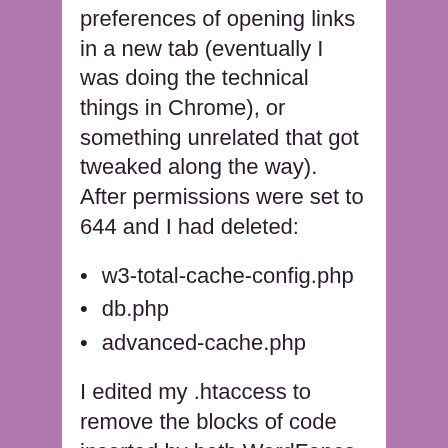preferences of opening links in a new tab (eventually I was doing the technical things in Chrome), or something unrelated that got tweaked along the way). After permissions were set to 644 and I had deleted:
w3-total-cache-config.php
db.php
advanced-cache.php
I edited my .htaccess to remove the blocks of code inserted by both WordFence and W3TC. This was made easy and stress free by the fact that I had done a complete backup of the files on the server before I started tinkering and that the code inserted into the .htaccess by both plugins was clearly commented out.